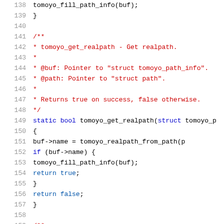[Figure (screenshot): Source code listing in C showing lines 138-159, featuring a function comment block and static bool function tomoyo_get_realpath with line numbers displayed in gray on the left margin.]